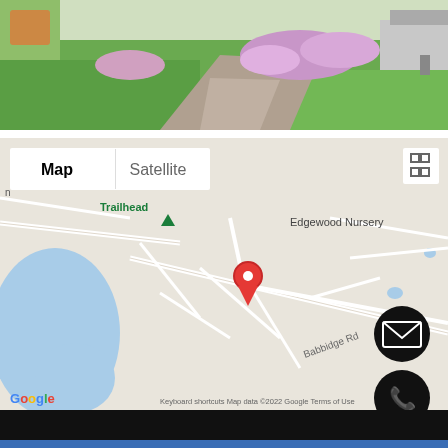[Figure (photo): Outdoor garden photo showing green lawn, paved walkway, and flowering bushes]
[Figure (map): Google Maps embed showing a location pin near Trailhead, Edgewood Nursery, and Babbidge Rd. Map/Satellite toggle visible, along with email and phone contact buttons, Google logo, and map footer text 'Keyboard shortcuts  Map data ©2022 Google  Terms of Use']
Map
Satellite
Trailhead
Edgewood Nursery
Babbidge Rd
Google
Keyboard shortcuts  Map data ©2022 Google  Terms of Use